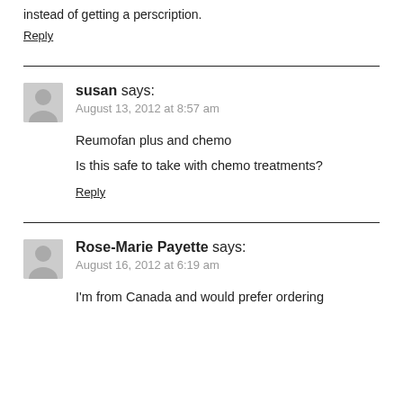instead of getting a perscription.
Reply
susan says:
August 13, 2012 at 8:57 am
Reumofan plus and chemo
Is this safe to take with chemo treatments?
Reply
Rose-Marie Payette says:
August 16, 2012 at 6:19 am
I'm from Canada and would prefer ordering